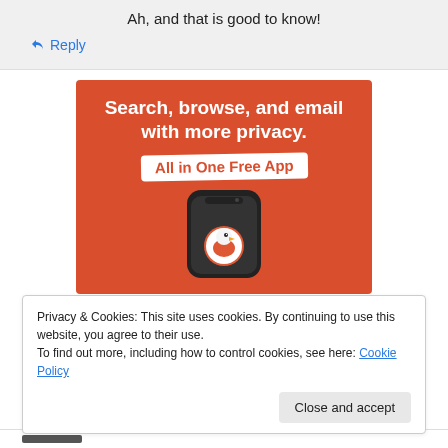Ah, and that is good to know!
↳ Reply
[Figure (illustration): DuckDuckGo advertisement banner on orange/red background with text 'Search, browse, and email with more privacy. All in One Free App' and phone mockup showing DuckDuckGo duck logo]
Privacy & Cookies: This site uses cookies. By continuing to use this website, you agree to their use.
To find out more, including how to control cookies, see here: Cookie Policy
Close and accept